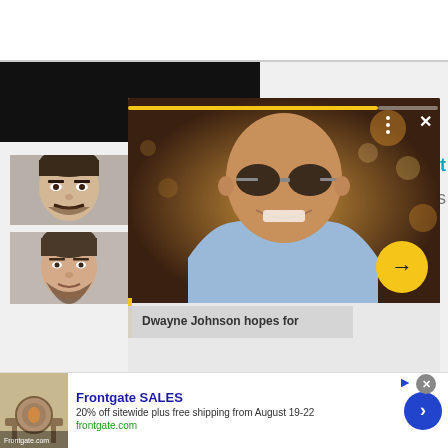[Figure (screenshot): Website screenshot showing a video overlay of Dwayne Johnson with sunglasses, with text 'Dwayne Johnson hopes for', a yellow progress bar, navigation dots and close button. Below are two celebrity headshots on the left side. Bottom shows a Frontgate SALES advertisement.]
Dwayne Johnson hopes for
Frontgate SALES
20% off sitewide plus free shipping from August 19-22
frontgate.com